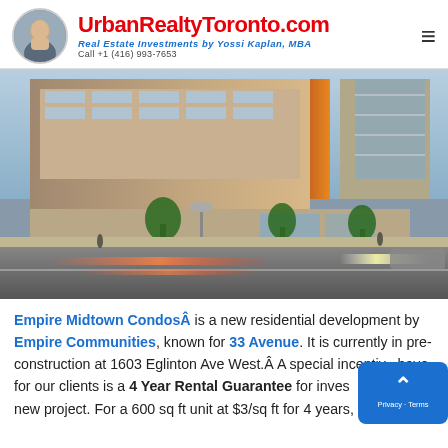UrbanRealtyToronto.com - Real Estate Investments by Yossi Kaplan, MBA - Call +1 (416) 993-7653
[Figure (photo): Architectural rendering of Empire Midtown Condos building at night with street-level view showing modern mixed-use high-rise with retail at street level and light trails from cars]
Empire Midtown CondosÂ is a new residential development by Empire Communities, known for 33 Avenue. It is currently in pre-construction at 1603 Eglinton Ave West.Â A special incentive have for our clients is a 4 Year Rental Guarantee for investors this new project. For a 600 sq ft unit at $3/sq ft for 4 years, this